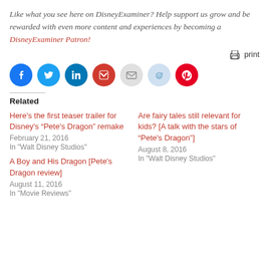Like what you see here on DisneyExaminer? Help support us grow and be rewarded with even more content and experiences by becoming a DisneyExaminer Patron!
[Figure (other): Print icon followed by the word 'print']
[Figure (other): Social share buttons: Facebook (blue), Twitter (light blue), LinkedIn (dark blue), Pocket (red), Email (gray), Reddit (light blue), Pinterest (red)]
Related
Here’s the first teaser trailer for Disney’s “Pete’s Dragon” remake
February 21, 2016
In "Walt Disney Studios"
Are fairy tales still relevant for kids? [A talk with the stars of “Pete’s Dragon”]
August 8, 2016
In "Walt Disney Studios"
A Boy and His Dragon [Pete’s Dragon review]
August 11, 2016
In "Movie Reviews"